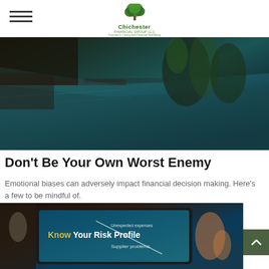Chichester Financial Group LLC — Focused in Caring and Financial Well Being
[Figure (photo): Aerial view of a luxury pool with reflections of palm trees, teal/dark toned waters, surrounding stone patio]
Don't Be Your Own Worst Enemy
Emotional biases can adversely impact financial decision making. Here's a few to be mindful of.
[Figure (photo): Tablet screen showing 'Know Your Risk Profile' infographic with financial risk assessment content]